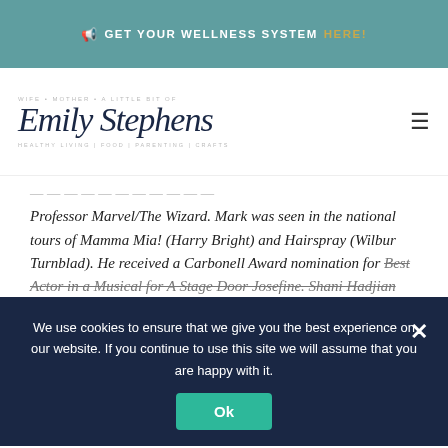📢 GET YOUR WELLNESS SYSTEM HERE!
[Figure (logo): Emily Stephens blog logo — script font with tagline: HEALTHY LIVING | FOOD | PARENTING | CRAFTS]
Professor Marvel/The Wizard. Mark was seen in the national tours of Mamma Mia! (Harry Bright) and Hairspray (Wilbur Turnblad). He received a Carbonell Award nomination for Best Actor in a Musical for A Stage Door Josefine. Shani Hadjian will star as the Wicked Witch of the West. Shani appeared in the national tour of
We use cookies to ensure that we give you the best experience on our website. If you continue to use this site we will assume that you are happy with it.